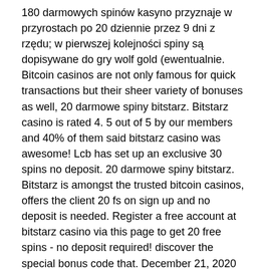180 darmowych spinów kasyno przyznaje w przyrostach po 20 dziennie przez 9 dni z rzędu; w pierwszej kolejności spiny są dopisywane do gry wolf gold (ewentualnie. Bitcoin casinos are not only famous for quick transactions but their sheer variety of bonuses as well, 20 darmowe spiny bitstarz. Bitstarz casino is rated 4. 5 out of 5 by our members and 40% of them said bitstarz casino was awesome! Lcb has set up an exclusive 30 spins no deposit. 20 darmowe spiny bitstarz. Bitstarz is amongst the trusted bitcoin casinos, offers the client 20 fs on sign up and no deposit is needed. Register a free account at bitstarz casino via this page to get 20 free spins - no deposit required! discover the special bonus code that. December 21, 2020 by bitcoincasino bitstarz casino is the best bitcoin casino and offers 20 free spins (no deposit required) and a 100% match bonus up to 1 btc